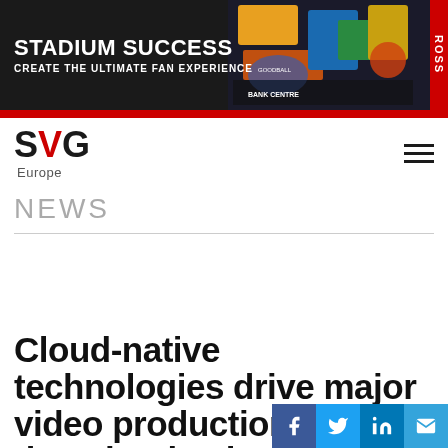[Figure (photo): Stadium Success banner advertisement — black background with bold white text 'STADIUM SUCCESS / CREATE THE ULTIMATE FAN EXPERIENCE' on left, colorful stadium illustration on right, red ROSS vertical label on far right]
[Figure (logo): SVG Europe logo — bold black and red letters 'SVG' with 'Europe' below, hamburger menu icon on right]
NEWS
[Figure (photo): ZiXi SDVP advertisement banner — dark blue/black background, white text 'LIVE VIDEO DELIVERY OVER ANY IP NETWORK, ANY PROTOCOL, ANY CLOUD PROVIDER, ANY EDGE DEVICE.' on left, large ZiX SDVP logo on right with tech visual background]
Cloud-native technologies drive major video production decarbonisation